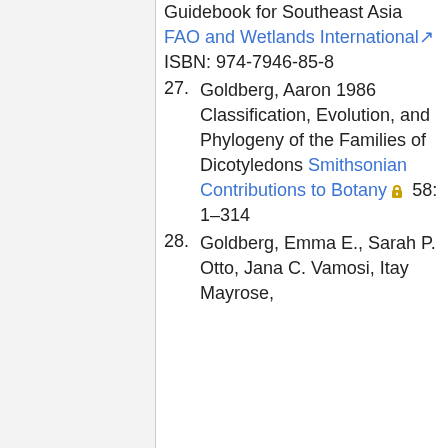(continuation) Guidebook for Southeast Asia FAO and Wetlands International ISBN: 974-7946-85-8
27. Goldberg, Aaron 1986 Classification, Evolution, and Phylogeny of the Families of Dicotyledons Smithsonian Contributions to Botany 58: 1–314
28. Goldberg, Emma E., Sarah P. Otto, Jana C. Vamosi, Itay Mayrose,